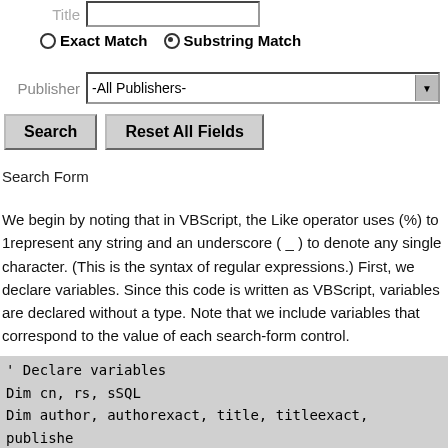[Figure (screenshot): UI screenshot showing a search form with Exact Match / Substring Match radio buttons, a Publisher dropdown set to -All Publishers-, and Search / Reset All Fields buttons]
Search Form
We begin by noting that in VBScript, the Like operator uses (%) to 1represent any string and an underscore ( _ ) to denote any single character. (This is the syntax of regular expressions.) First, we declare variables. Since this code is written as VBScript, variables are declared without a type. Note that we include variables that correspond to the value of each search-form control.
' Declare variables
Dim cn, rs, sSQL
Dim author, authorexact, title, titleexact, publishe
Dim connectiv